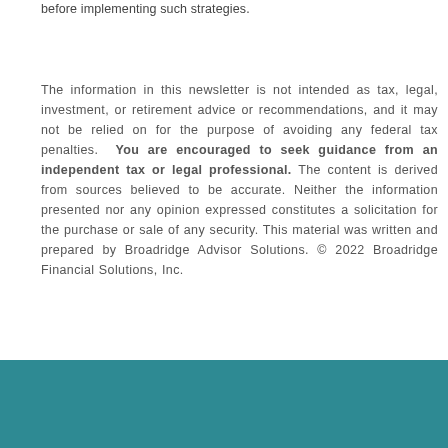before implementing such strategies.
The information in this newsletter is not intended as tax, legal, investment, or retirement advice or recommendations, and it may not be relied on for the purpose of avoiding any federal tax penalties. You are encouraged to seek guidance from an independent tax or legal professional. The content is derived from sources believed to be accurate. Neither the information presented nor any opinion expressed constitutes a solicitation for the purchase or sale of any security. This material was written and prepared by Broadridge Advisor Solutions. © 2022 Broadridge Financial Solutions, Inc.